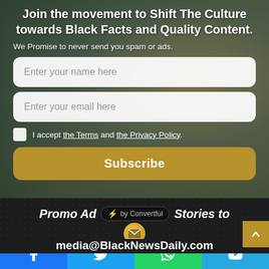Join the movement to Shift The Culture towards Black Facts and Quality Content.
We Promise to never send you spam or ads.
Enter your name here
Enter your email here
I accept the Terms and the Privacy Policy.
Subscribe
[Figure (other): Promo Ad by Convertful banner with Stories to text]
media@BlackNewsDaily.com
[Figure (other): Social share bar with Facebook, Twitter, WhatsApp, and Telegram icons]